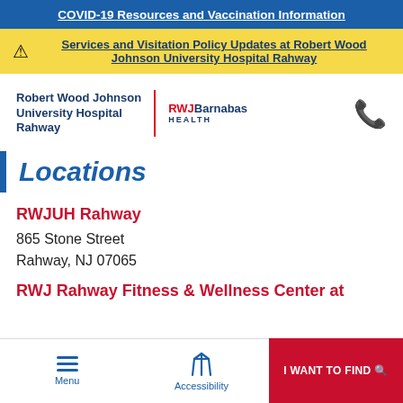COVID-19 Resources and Vaccination Information
Services and Visitation Policy Updates at Robert Wood Johnson University Hospital Rahway
[Figure (logo): Robert Wood Johnson University Hospital Rahway | RWJBarnabas Health logo with phone icon]
Locations
RWJUH Rahway
865 Stone Street
Rahway, NJ 07065
RWJ Rahway Fitness & Wellness Center at
Menu  Accessibility  I WANT TO FIND